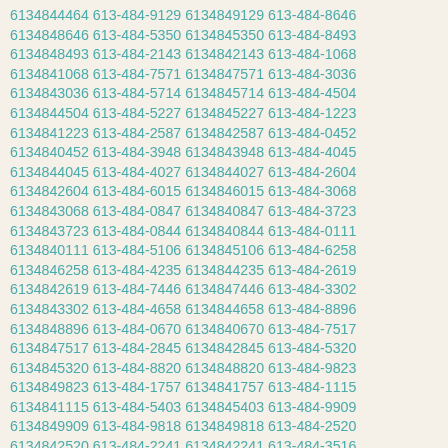6134844464 613-484-9129 6134849129 613-484-8646 6134848646 613-484-5350 6134845350 613-484-8493 6134848493 613-484-2143 6134842143 613-484-1068 6134841068 613-484-7571 6134847571 613-484-3036 6134843036 613-484-5714 6134845714 613-484-4504 6134844504 613-484-5227 6134845227 613-484-1223 6134841223 613-484-2587 6134842587 613-484-0452 6134840452 613-484-3948 6134843948 613-484-4045 6134844045 613-484-4027 6134844027 613-484-2604 6134842604 613-484-6015 6134846015 613-484-3068 6134843068 613-484-0847 6134840847 613-484-3723 6134843723 613-484-0844 6134840844 613-484-0111 6134840111 613-484-5106 6134845106 613-484-6258 6134846258 613-484-4235 6134844235 613-484-2619 6134842619 613-484-7446 6134847446 613-484-3302 6134843302 613-484-4658 6134844658 613-484-8896 6134848896 613-484-0670 6134840670 613-484-7517 6134847517 613-484-2845 6134842845 613-484-5320 6134845320 613-484-8820 6134848820 613-484-9823 6134849823 613-484-1757 6134841757 613-484-1115 6134841115 613-484-5403 6134845403 613-484-9909 6134849909 613-484-9818 6134849818 613-484-2520 6134842520 613-484-2241 6134842241 613-484-3516 6134843516 613-484-3468 6134843468 613-484-7367 6134847367 613-484-6488 6134846488 613-484-9934 6134849934 613-484-2674 6134842674 613-484-7079 6134847079 613-484-8681 6134848681 613-484-4430 6134844430 613-484-0789 6134840789 613-484-1660 6134841660 613-484-6260 6134846260 613-484-9059 6134849059 613-484-9389 6134849389 613-484-6350 6134846350 613-484-6284 6134846284 613-484-0506 6134840506 613-484-7296 6134847296 613-484-3235 6134843235 613-484-6018 6134846018 613-484-6119 6134846119 613-484-2723 6134842723 613-